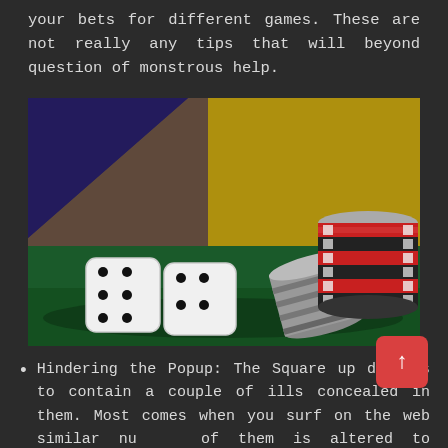your bets for different games. These are not really any tips that will beyond question of monstrous help.
[Figure (photo): Photo of two white dice and stacks of casino chips (red, black, silver) on a green felt surface, with a blue and yellow flag in the background.]
Hindering the Popup: The Square up designs to contain a couple of ills concealed in them. Most comes when you surf on the web similar nu... of them is altered to follow essential information of all